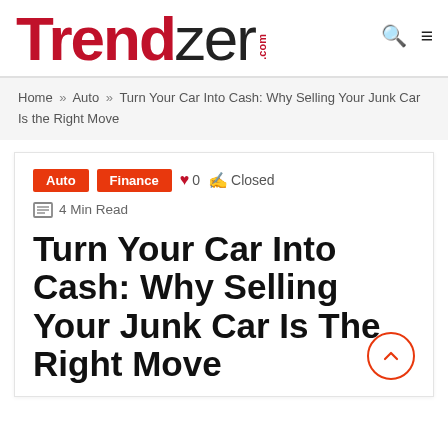Trendzer.com
Home » Auto » Turn Your Car Into Cash: Why Selling Your Junk Car Is the Right Move
Auto  Finance  ♥ 0  Closed  📄 4 Min Read
Turn Your Car Into Cash: Why Selling Your Junk Car Is The Right Move